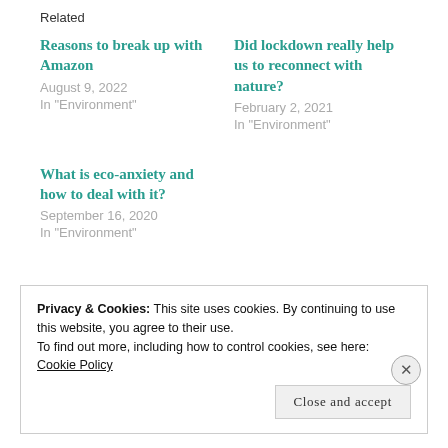Related
Reasons to break up with Amazon
August 9, 2022
In "Environment"
Did lockdown really help us to reconnect with nature?
February 2, 2021
In "Environment"
What is eco-anxiety and how to deal with it?
September 16, 2020
In "Environment"
Privacy & Cookies: This site uses cookies. By continuing to use this website, you agree to their use.
To find out more, including how to control cookies, see here:
Cookie Policy
Close and accept